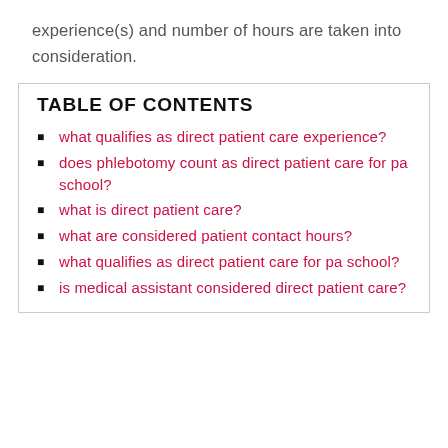experience(s) and number of hours are taken into consideration.
TABLE OF CONTENTS
what qualifies as direct patient care experience?
does phlebotomy count as direct patient care for pa school?
what is direct patient care?
what are considered patient contact hours?
what qualifies as direct patient care for pa school?
is medical assistant considered direct patient care?